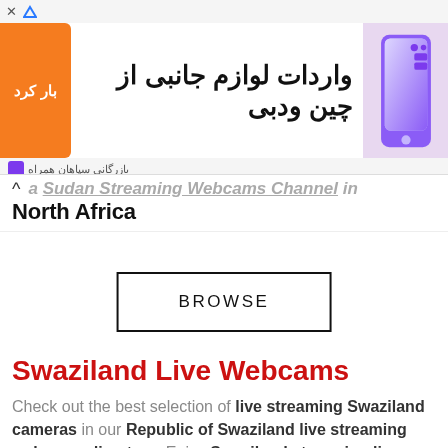[Figure (screenshot): Advertisement banner in Persian/Farsi for 'واردات لوازم جانبی از چین ودبی' (Import accessories from China and Dubai) with orange button, Persian text, and purple iPhone image. Footer shows 'بازرگانی سپاهان همراه'.]
a Sudan Streaming Webcams Channel in North Africa
[Figure (other): BROWSE button — rectangular bordered button with black border and text 'BROWSE' in uppercase letters]
Swaziland Live Webcams
Check out the best selection of live streaming Swaziland cameras in our Republic of Swaziland live streaming webcams directory. Enjoy Swaziland streaming live webcam views from all over Swaziland in Southern